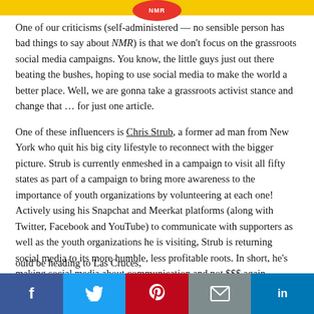[Figure (logo): NMR logo on yellow bar at top of page]
One of our criticisms (self-administered — no sensible person has bad things to say about NMR) is that we don't focus on the grassroots social media campaigns. You know, the little guys just out there beating the bushes, hoping to use social media to make the world a better place. Well, we are gonna take a grassroots activist stance and change that … for just one article.
One of these influencers is Chris Strub, a former ad man from New York who quit his big city lifestyle to reconnect with the bigger picture. Strub is currently enmeshed in a campaign to visit all fifty states as part of a campaign to bring more awareness to the importance of youth organizations by volunteering at each one! Actively using his Snapchat and Meerkat platforms (along with Twitter, Facebook and YouTube) to communicate with supporters as well as the youth organizations he is visiting, Strub is returning social media to its more humble, less profitable roots. In short, he's making social media about communication and not $$$ again.
His journey started in South Carolina and looping around the U.S., will … ould be heading to Las Cruces, … ut his social media activities
[Figure (infographic): Social media share bar at bottom with Facebook, Twitter, Pinterest, Email, and LinkedIn buttons]